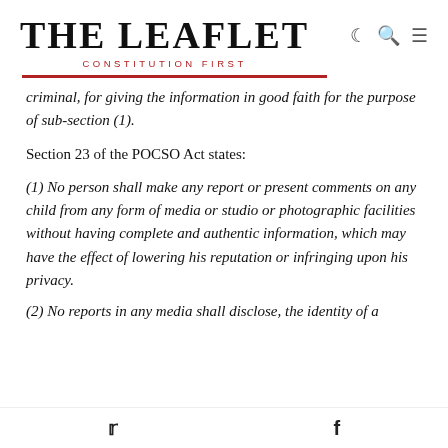THE LEAFLET — CONSTITUTION FIRST
criminal, for giving the information in good faith for the purpose of sub-section (1).
Section 23 of the POCSO Act states:
(1) No person shall make any report or present comments on any child from any form of media or studio or photographic facilities without having complete and authentic information, which may have the effect of lowering his reputation or infringing upon his privacy.
(2) No reports in any media shall disclose, the identity of a
Twitter  Facebook